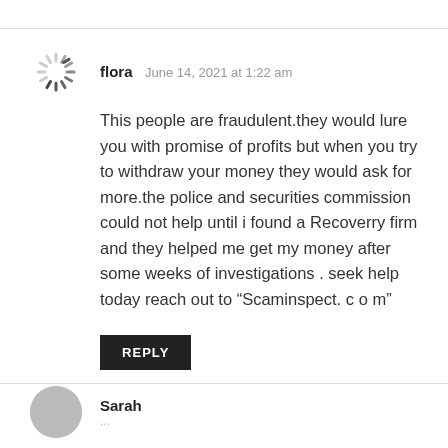[Figure (illustration): Loading spinner / avatar icon for user 'flora']
flora   June 14, 2021 at 1:22 am
This people are fraudulent.they would lure you with promise of profits but when you try to withdraw your money they would ask for more.the police and securities commission could not help until i found a Recoverry firm and they helped me get my money after some weeks of investigations . seek help today reach out to “Scaminspect. c o m”
REPLY
[Figure (illustration): Gray circular avatar icon for next commenter 'Sarah']
Sarah